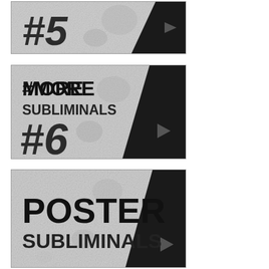[Figure (screenshot): Thumbnail showing '#5' in large bold italic text on a grungy black and white textured background, with a black diagonal stripe on the right containing a play button triangle]
[Figure (screenshot): Thumbnail showing 'MORE SUBLIMINALS' in bold uppercase text and '#6' in large bold italic text on a grungy black and white textured background, with a black diagonal stripe on the right containing a play button triangle]
[Figure (screenshot): Thumbnail showing 'POSTER SUBLIMINALS' in large bold uppercase text on a grungy black and white textured background, with a black diagonal stripe on the right containing a play button triangle]